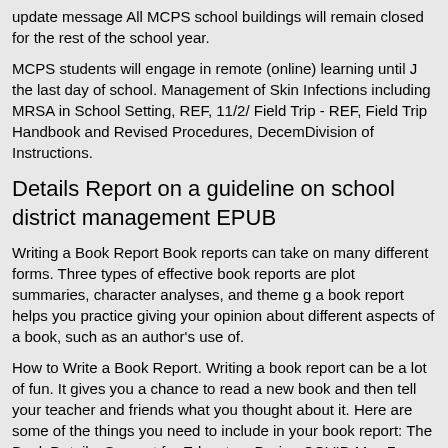update message All MCPS school buildings will remain closed for the rest of the school year.
MCPS students will engage in remote (online) learning until J the last day of school. Management of Skin Infections including MRSA in School Setting, REF, 11/2/ Field Trip - REF, Field Trip Handbook and Revised Procedures, DecemDivision of Instructions.
Details Report on a guideline on school district management EPUB
Writing a Book Report Book reports can take on many different forms. Three types of effective book reports are plot summaries, character analyses, and theme g a book report helps you practice giving your opinion about different aspects of a book, such as an author's use of.
How to Write a Book Report. Writing a book report can be a lot of fun. It gives you a chance to read a new book and then tell your teacher and friends what you thought about it. Here are some of the things you need to include in your book report: The Book Details. Support for Educators During COVID May 7, (added May) Recorded webinar on the Virtual Support Circle for Educators During COVID from the California Department o